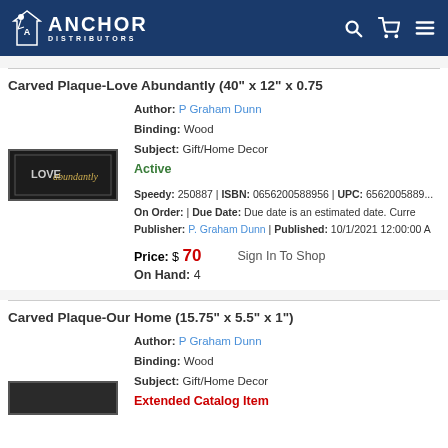Anchor Distributors
Carved Plaque-Love Abundantly (40" x 12" x 0.75
Author: P Graham Dunn
Binding: Wood
Subject: Gift/Home Decor
Active
Speedy: 250887 | ISBN: 0656200588956 | UPC: 6562005889...
On Order: | Due Date: Due date is an estimated date. Curre...
Publisher: P. Graham Dunn | Published: 10/1/2021 12:00:00 A...
Price: $ 70
On Hand: 4
Sign In To Shop
[Figure (photo): Photo of Carved Plaque reading 'LOVE abundantly' in a dark frame]
Carved Plaque-Our Home (15.75" x 5.5" x 1")
Author: P Graham Dunn
Binding: Wood
Subject: Gift/Home Decor
Extended Catalog Item